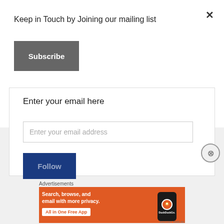×
Keep in Touch by Joining our mailing list
Subscribe
Enter your email here
Enter your email address
Follow
⊗
Advertisements
[Figure (screenshot): DuckDuckGo advertisement banner with orange background showing 'Search, browse, and email with more privacy. All in One Free App' with phone mockup and DuckDuckGo logo]